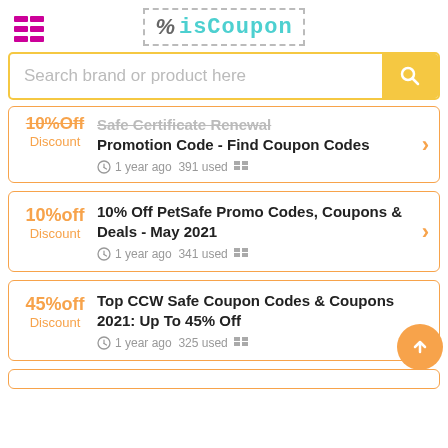isCoupon
Search brand or product here
10%off Discount - Safe Certificate Renewal Promotion Code - Find Coupon Codes — 1 year ago 391 used
10%off Discount - 10% Off PetSafe Promo Codes, Coupons & Deals - May 2021 — 1 year ago 341 used
45%off Discount - Top CCW Safe Coupon Codes & Coupons 2021: Up To 45% Off — 1 year ago 325 used